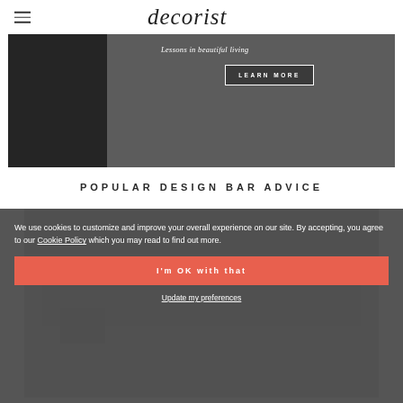decorist
[Figure (photo): Hero image showing a person in a dark outfit seated on a dark sofa, with overlay text 'Lessons in beautiful living' and a 'LEARN MORE' button]
POPULAR DESIGN BAR ADVICE
We use cookies to customize and improve your overall experience on our site. By accepting, you agree to our Cookie Policy which you may read to find out more.
I'm OK with that
Update my preferences
[Figure (photo): Exterior photo of a dark-colored house with garage]